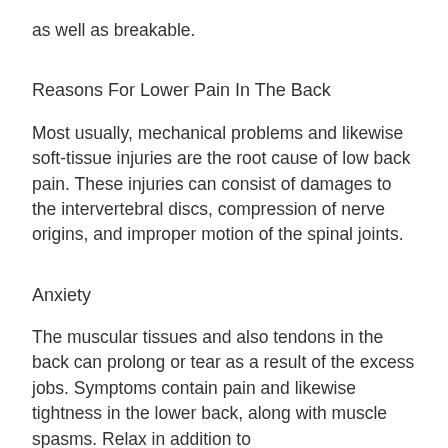as well as breakable.
Reasons For Lower Pain In The Back
Most usually, mechanical problems and likewise soft-tissue injuries are the root cause of low back pain. These injuries can consist of damages to the intervertebral discs, compression of nerve origins, and improper motion of the spinal joints.
Anxiety
The muscular tissues and also tendons in the back can prolong or tear as a result of the excess jobs. Symptoms contain pain and likewise tightness in the lower back, along with muscle spasms. Relax in addition to